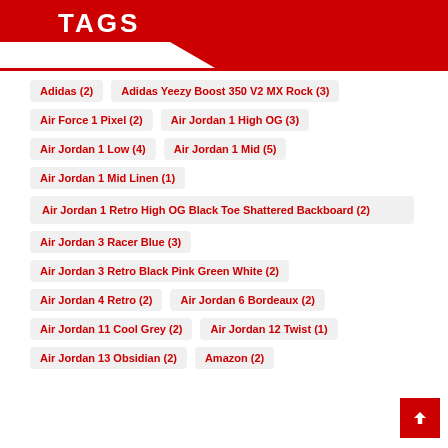TAGS
Adidas (2)
Adidas Yeezy Boost 350 V2 MX Rock (3)
Air Force 1 Pixel (2)
Air Jordan 1 High OG (3)
Air Jordan 1 Low (4)
Air Jordan 1 Mid (5)
Air Jordan 1 Mid Linen (1)
Air Jordan 1 Retro High OG Black Toe Shattered Backboard (2)
Air Jordan 3 Racer Blue (3)
Air Jordan 3 Retro Black Pink Green White (2)
Air Jordan 4 Retro (2)
Air Jordan 6 Bordeaux (2)
Air Jordan 11 Cool Grey (2)
Air Jordan 12 Twist (1)
Air Jordan 13 Obsidian (2)
Amazon (2)